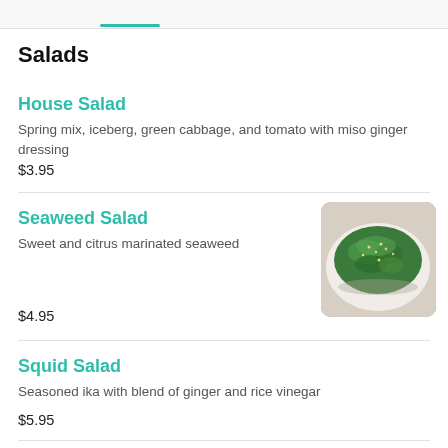Salads
House Salad
Spring mix, iceberg, green cabbage, and tomato with miso ginger dressing
$3.95
Seaweed Salad
Sweet and citrus marinated seaweed
[Figure (photo): Photo of seaweed salad on a plate — green seaweed garnished with sesame seeds]
$4.95
Squid Salad
Seasoned ika with blend of ginger and rice vinegar
$5.95